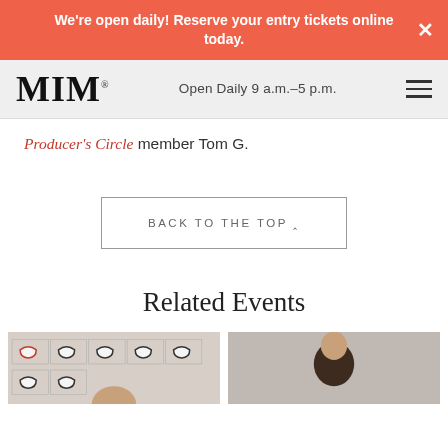We're open daily! Reserve your entry tickets online today.
MIM | Open Daily 9 a.m.–5 p.m.
Producer's Circle member Tom G.
BACK TO THE TOP ^
Related Events
[Figure (photo): Two event thumbnail photos side by side: left shows a wall of framed eyeglasses, right shows a person against a light wall.]